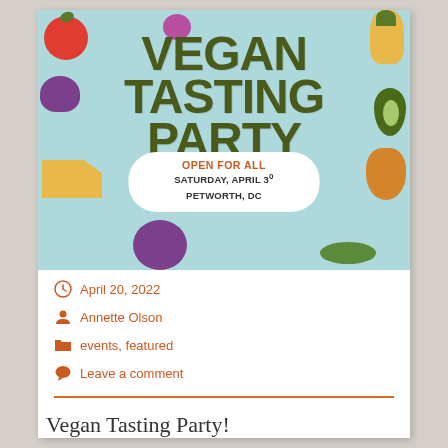[Figure (illustration): Vegan Tasting Party event poster with colorful vegetable/fruit illustrations on a light teal background. Text reads 'VEGAN TASTING PARTY' in large dark olive font, with a white bubble showing 'OPEN FOR ALL / SATURDAY, APRIL 30 / PETWORTH, DC'.]
April 20, 2022
Annette Olson
events, featured
Leave a comment
Vegan Tasting Party!